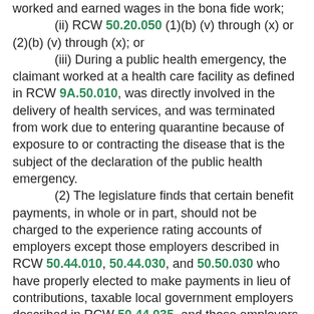worked and earned wages in the bona fide work; (ii) RCW 50.20.050 (1)(b) (v) through (x) or (2)(b) (v) through (x); or (iii) During a public health emergency, the claimant worked at a health care facility as defined in RCW 9A.50.010, was directly involved in the delivery of health services, and was terminated from work due to entering quarantine because of exposure to or contracting the disease that is the subject of the declaration of the public health emergency. (2) The legislature finds that certain benefit payments, in whole or in part, should not be charged to the experience rating accounts of employers except those employers described in RCW 50.44.010, 50.44.030, and 50.50.030 who have properly elected to make payments in lieu of contributions, taxable local government employers described in RCW 50.44.035, and those employers who are required to make payments in lieu of contributions, as follows: (a) Benefits paid to any individual later determined to be ineligible shall not be charged to the experience rating account of any contribution paying